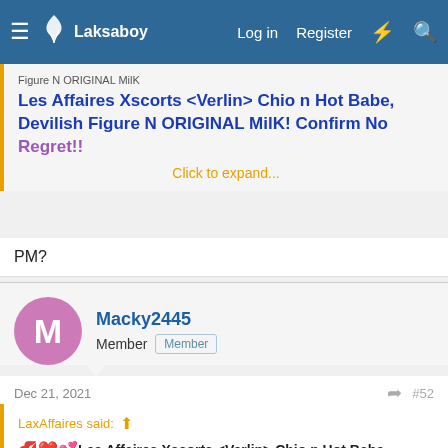Laksaboy — Log in  Register
Figure N ORIGINAL MilK
Les Affaires Xscorts <Verlin> Chio n Hot Babe, Devilish Figure N ORIGINAL MilK! Confirm No Regret!!
Click to expand...
PM?
Macky2445
Member  Member
Dec 21, 2021
#52
LaxAffaires said:
💋❤️💕Les Affaires Xscorts <Verlin> Chio n Hot Babe, Devilish Figure N ORIGINAL MilK
Les Affaires Xscorts <Verlin> Chio n Hot Babe,